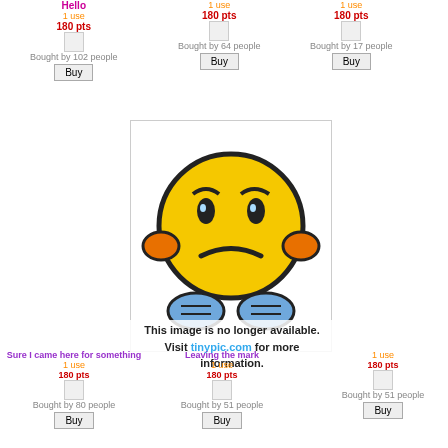Hello
1 use
180 pts
Bought by 102 people
1 use
180 pts
Bought by 64 people
1 use
180 pts
Bought by 17 people
[Figure (illustration): Sad/worried emoji character with hands on cheeks, yellow face]
This image is no longer available. Visit tinypic.com for more information.
Sure I came here for something
1 use
180 pts
Bought by 80 people
Leaving the mark
1 use
180 pts
Bought by 51 people
1 use
180 pts
Bought by 51 people